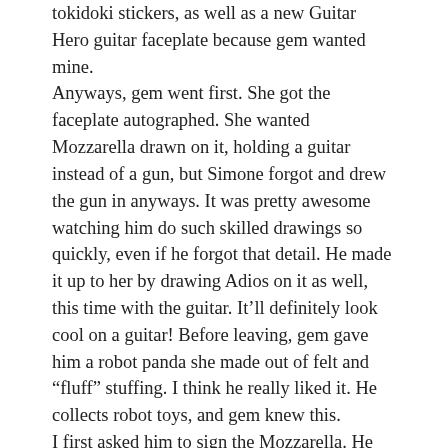tokidoki stickers, as well as a new Guitar Hero guitar faceplate because gem wanted mine. Anyways, gem went first. She got the faceplate autographed. She wanted Mozzarella drawn on it, holding a guitar instead of a gun, but Simone forgot and drew the gun in anyways. It was pretty awesome watching him do such skilled drawings so quickly, even if he forgot that detail. He made it up to her by drawing Adios on it as well, this time with the guitar. It'll definitely look cool on a guitar! Before leaving, gem gave him a robot panda she made out of felt and “fluff” stuffing. I think he really liked it. He collects robot toys, and gem knew this. I first asked him to sign the Mozzarella. He drew a Latte on the back of her in full color. It was an amazing drawing. After asking if I had anything else he wanted me to sign, I gave him a blank Labbit and asked if he’d put it in a cactus suit like many of his characters had. He laughed and said he’d try. Well, I don’t know if he thought he’d fail or something, because it looks gorgeous. What’s especially cool is that we now have a Simone Legno autographed / sketched Labbit